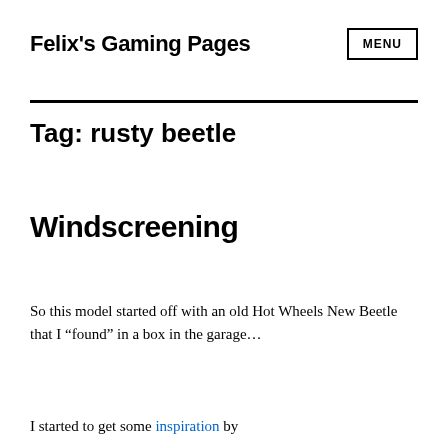Felix's Gaming Pages
MENU
Tag: rusty beetle
Windscreening
So this model started off with an old Hot Wheels New Beetle that I “found” in a box in the garage…
I started to...